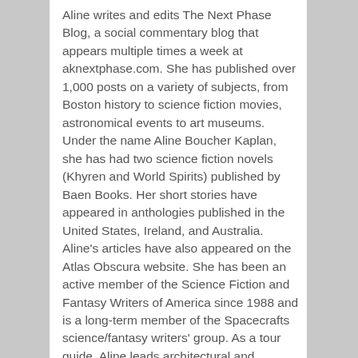Aline writes and edits The Next Phase Blog, a social commentary blog that appears multiple times a week at aknextphase.com. She has published over 1,000 posts on a variety of subjects, from Boston history to science fiction movies, astronomical events to art museums. Under the name Aline Boucher Kaplan, she has had two science fiction novels (Khyren and World Spirits) published by Baen Books. Her short stories have appeared in anthologies published in the United States, Ireland, and Australia. Aline's articles have also appeared on the Atlas Obscura website. She has been an active member of the Science Fiction and Fantasy Writers of America since 1988 and is a long-term member of the Spacecrafts science/fantasy writers' group. As a tour guide, Aline leads architectural and historical walking tours of the city for Boston By Foot, ghost tours for Haunted Boston and historical bus tours of the city. She lectures on Boston history and has appeared in the Boston Globe, as well as